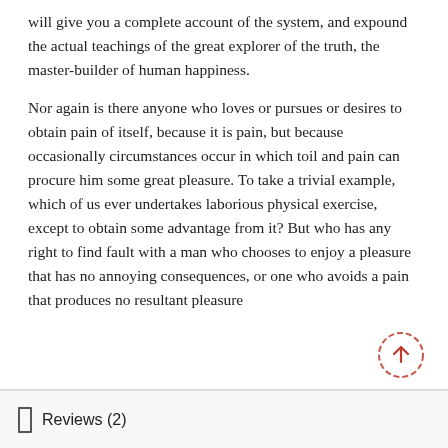will give you a complete account of the system, and expound the actual teachings of the great explorer of the truth, the master-builder of human happiness.

Nor again is there anyone who loves or pursues or desires to obtain pain of itself, because it is pain, but because occasionally circumstances occur in which toil and pain can procure him some great pleasure. To take a trivial example, which of us ever undertakes laborious physical exercise, except to obtain some advantage from it? But who has any right to find fault with a man who chooses to enjoy a pleasure that has no annoying consequences, or one who avoids a pain that produces no resultant pleasure
Reviews (2)